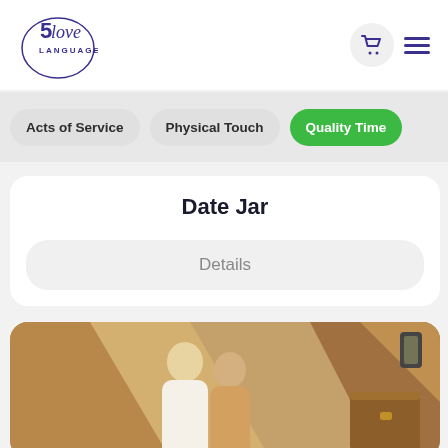[Figure (logo): 5 Love Languages logo with circular border and script text]
Acts of Service
Physical Touch
Quality Time
Date Jar
Details
[Figure (photo): Romantic couple in warm ambient light, man and woman facing each other closely]